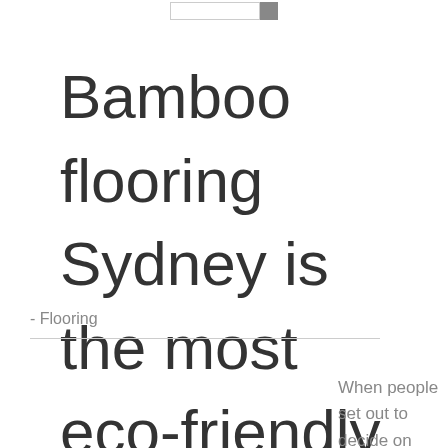Bamboo flooring Sydney is the most eco-friendly option available these days
- Flooring
When people set out to decide on